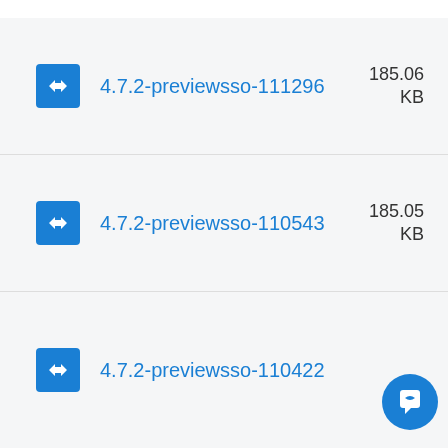4.7.2-previewsso-111296, 185.06 KB
4.7.2-previewsso-110543, 185.05 KB
4.7.2-previewsso-110422